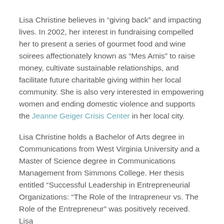Lisa Christine believes in “giving back” and impacting lives. In 2002, her interest in fundraising compelled her to present a series of gourmet food and wine soirees affectionately known as “Mes Amis” to raise money, cultivate sustainable relationships, and facilitate future charitable giving within her local community. She is also very interested in empowering women and ending domestic violence and supports the Jeanne Geiger Crisis Center in her local city.
Lisa Christine holds a Bachelor of Arts degree in Communications from West Virginia University and a Master of Science degree in Communications Management from Simmons College. Her thesis entitled “Successful Leadership in Entrepreneurial Organizations: “The Role of the Intrapreneur vs. The Role of the Entrepreneur” was positively received. Lisa